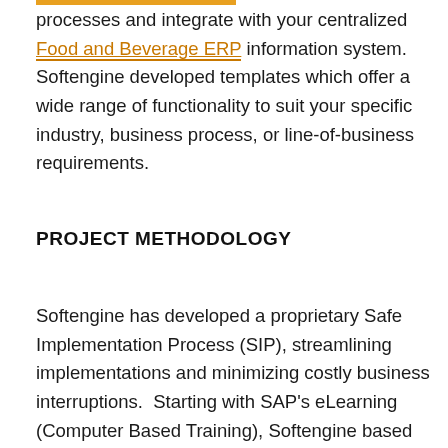processes and integrate with your centralized Food and Beverage ERP information system. Softengine developed templates which offer a wide range of functionality to suit your specific industry, business process, or line-of-business requirements.
PROJECT METHODOLOGY
Softengine has developed a proprietary Safe Implementation Process (SIP), streamlining implementations and minimizing costly business interruptions.  Starting with SAP's eLearning (Computer Based Training), Softengine based on